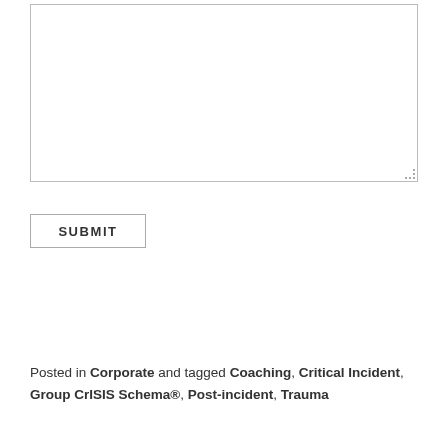[Figure (other): A textarea input box with a resize handle at bottom-right corner]
SUBMIT
Posted in Corporate and tagged Coaching, Critical Incident, Group CrISIS Schema®, Post-incident, Trauma